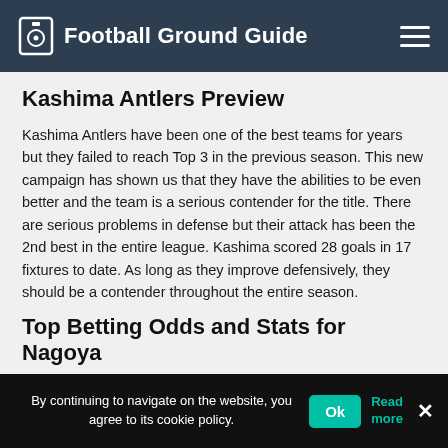Football Ground Guide
Kashima Antlers Preview
Kashima Antlers have been one of the best teams for years but they failed to reach Top 3 in the previous season. This new campaign has shown us that they have the abilities to be even better and the team is a serious contender for the title. There are serious problems in defense but their attack has been the 2nd best in the entire league. Kashima scored 28 goals in 17 fixtures to date. As long as they improve defensively, they should be a contender throughout the entire season.
Top Betting Odds and Stats for Nagoya
By continuing to navigate on the website, you agree to its cookie policy.